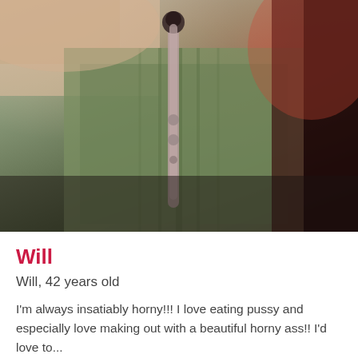[Figure (photo): Close-up photo showing a pierced body part against a green leaf background with reddish lighting on the right side]
Will
Will, 42 years old
I'm always insatiably horny!!! I love eating pussy and especially love making out with a beautiful horny ass!! I'd love to...
BDSM male 20 miles in / near Hamilton Square, New Jersey, United States